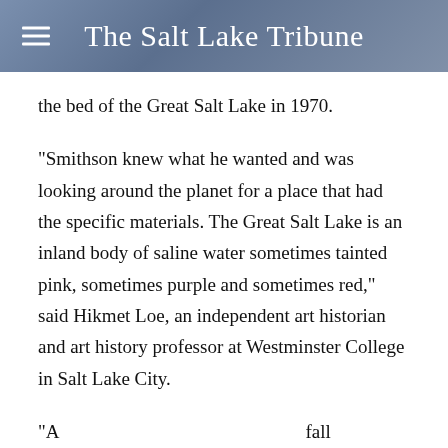The Salt Lake Tribune
the bed of the Great Salt Lake in 1970.
"Smithson knew what he wanted and was looking around the planet for a place that had the specific materials. The Great Salt Lake is an inland body of saline water sometimes tainted pink, sometimes purple and sometimes red," said Hikmet Loe, an independent art historian and art history professor at Westminster College in Salt Lake City.
"A custom inside the text below is and fall